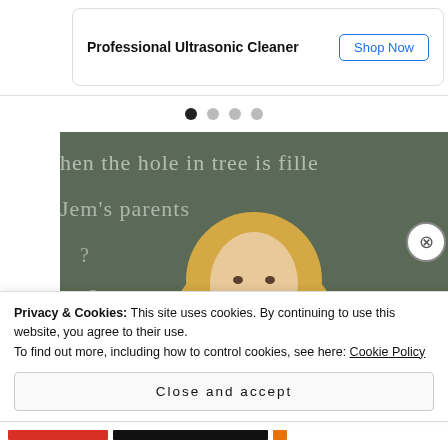Professional Ultrasonic Cleaner
Shop Now
Give best ... and watch...
[Figure (photo): Carousel navigation dots, 4 dots with first one filled/active (black) and three grey]
[Figure (photo): A woman with long blonde hair wearing a red top stands in front of a chalkboard with chalk writing including 'hen the hole in... tree is fille...', 'Jem's parents...', 'e?', 'which des...', 'f Maycom... Radleys?' She is pointing to the right.]
Privacy & Cookies: This site uses cookies. By continuing to use this website, you agree to their use.
To find out more, including how to control cookies, see here: Cookie Policy
Close and accept